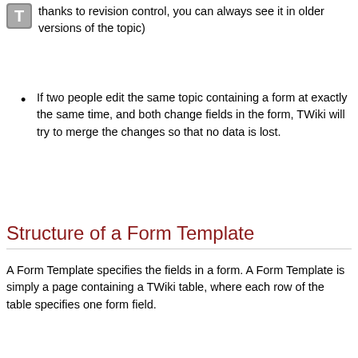[Figure (logo): TWiki T logo icon in top left corner]
thanks to revision control, you can always see it in older versions of the topic)
If two people edit the same topic containing a form at exactly the same time, and both change fields in the form, TWiki will try to merge the changes so that no data is lost.
Structure of a Form Template
A Form Template specifies the fields in a form. A Form Template is simply a page containing a TWiki table, where each row of the table specifies one form field.
Each column of the table is one element of an entry field: Name, Type, Size, Values, Tooltip message, and Attributes.
The Name, Type and Size columns are required. Other columns are optional. The form must have a header row (e.g. | *Name* | *Type* | *Size* |).
Name is the name of the form field.